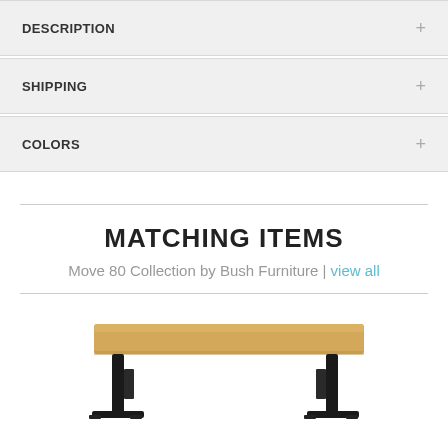DESCRIPTION
SHIPPING
COLORS
MATCHING ITEMS
Move 80 Collection by Bush Furniture | view all
[Figure (photo): Product photo of a standing desk with a light wood top and black metal legs/frame, partially visible at the bottom of the page.]